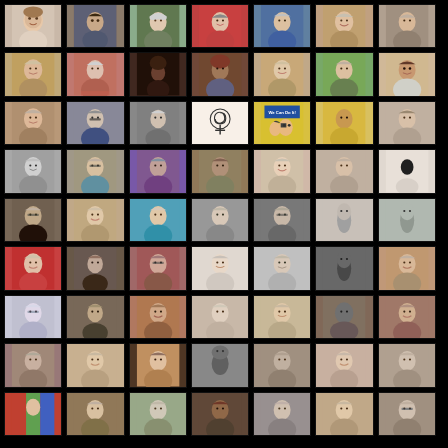[Figure (photo): A 9x7 grid collage of portrait photographs showing diverse women and a few other individuals. The photos include color and black-and-white portraits, some professional headshots, some candid photos. One cell contains a feminist symbol (Venus/female sign with spiral). Another contains a 'We Can Do It!' Rosie the Riveter style image. Photos are arranged on a black background with small gaps between them.]